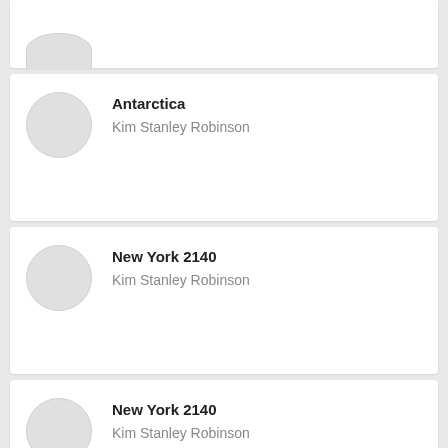(partial card, no title visible)
Antarctica — Kim Stanley Robinson
New York 2140 — Kim Stanley Robinson
New York 2140 — Kim Stanley Robinson
A Martian Romance (Abridged) — Kim Stanley Robinson